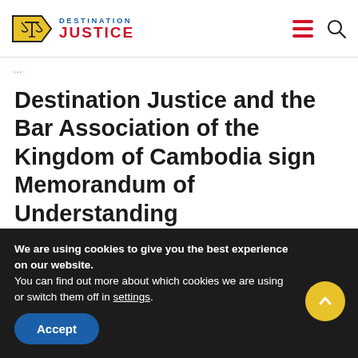Destination Justice
13/12/2013  0
Destination Justice and the Bar Association of the Kingdom of Cambodia sign Memorandum of Understanding
13/12/2013   0
We are using cookies to give you the best experience on our website.
You can find out more about which cookies we are using or switch them off in settings.
Accept